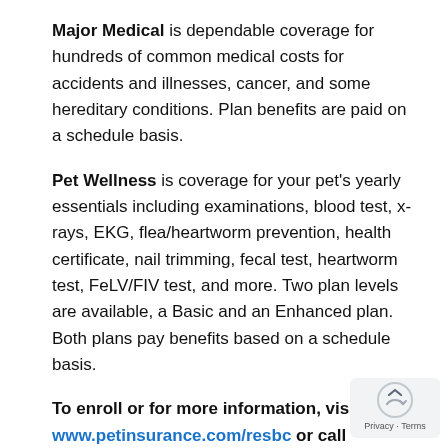Major Medical is dependable coverage for hundreds of common medical costs for accidents and illnesses, cancer, and some hereditary conditions. Plan benefits are paid on a schedule basis.
Pet Wellness is coverage for your pet's yearly essentials including examinations, blood test, x-rays, EKG, flea/heartworm prevention, health certificate, nail trimming, fecal test, heartworm test, FeLV/FIV test, and more. Two plan levels are available, a Basic and an Enhanced plan. Both plans pay benefits based on a schedule basis.
To enroll or for more information, visit www.petinsurance.com/resbc or call Nationwide directly at (877) 738-7874 and mention RESBC.